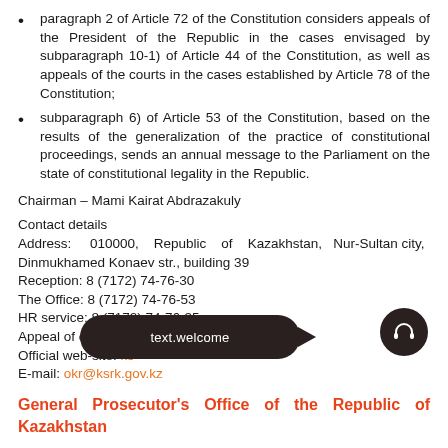paragraph 2 of Article 72 of the Constitution considers appeals of the President of the Republic in the cases envisaged by subparagraph 10-1) of Article 44 of the Constitution, as well as appeals of the courts in the cases established by Article 78 of the Constitution;
subparagraph 6) of Article 53 of the Constitution, based on the results of the generalization of the practice of constitutional proceedings, sends an annual message to the Parliament on the state of constitutional legality in the Republic.
Chairman – Mami Kairat Abdrazakuly
Contact details
Address: 010000, Republic of Kazakhstan, Nur-Sultan city, Dinmukhamed Konaev str., building 39
Reception: 8 (7172) 74-76-30
The Office: 8 (7172) 74-76-53
HR service: 8 (7172) 74-76-35
Appeal of citizens: [partially obscured]
Official web-site: [partially obscured]
E-mail: okr@ksrk.gov.kz
General Prosecutor's Office of the Republic of Kazakhstan